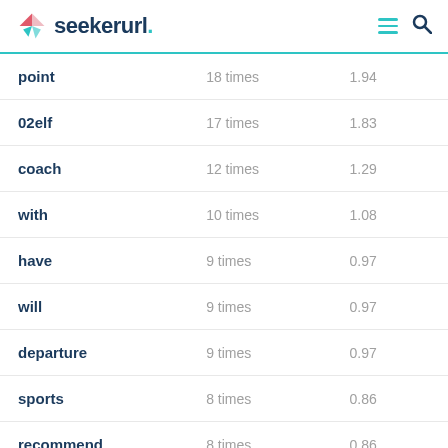seekerurl.
| keyword | times | value |
| --- | --- | --- |
| point | 18 times | 1.94 |
| 02elf | 17 times | 1.83 |
| coach | 12 times | 1.29 |
| with | 10 times | 1.08 |
| have | 9 times | 0.97 |
| will | 9 times | 0.97 |
| departure | 9 times | 0.97 |
| sports | 8 times | 0.86 |
| recommend | 8 times | 0.86 |